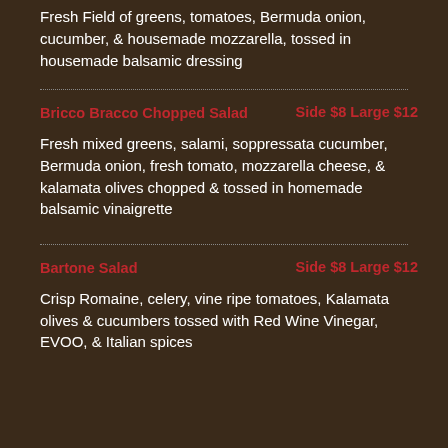Fresh Field of greens, tomatoes, Bermuda onion, cucumber, & housemade mozzarella, tossed in housemade balsamic dressing
Bricco Bracco Chopped Salad   Side $8 Large $12
Fresh mixed greens, salami, soppressata cucumber, Bermuda onion, fresh tomato, mozzarella cheese, & kalamata olives chopped & tossed in homemade balsamic vinaigrette
Bartone Salad   Side $8 Large $12
Crisp Romaine, celery, vine ripe tomatoes, Kalamata olives & cucumbers tossed with Red Wine Vinegar, EVOO, & Italian spices